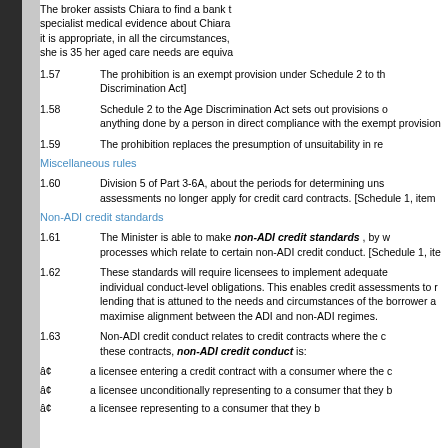The broker assists Chiara to find a bank that obtains specialist medical evidence about Chiara's situation and it is appropriate, in all the circumstances, even though she is 35 her aged care needs are equivalent...
1.57	The prohibition is an exempt provision under Schedule 2 to the [Age Discrimination Act]
1.58	Schedule 2 to the Age Discrimination Act sets out provisions of... anything done by a person in direct compliance with the exempt provision...
1.59	The prohibition replaces the presumption of unsuitability in re...
Miscellaneous rules
1.60	Division 5 of Part 3-6A, about the periods for determining uns... assessments no longer apply for credit card contracts. [Schedule 1, item...
Non-ADI credit standards
1.61	The Minister is able to make non-ADI credit standards , by w... processes which relate to certain non-ADI credit conduct. [Schedule 1, ite...
1.62	These standards will require licensees to implement adequate... individual conduct-level obligations. This enables credit assessments to r... lending that is attuned to the needs and circumstances of the borrower a... maximise alignment between the ADI and non-ADI regimes.
1.63	Non-ADI credit conduct relates to credit contracts where the c... these contracts, non-ADI credit conduct is:
•	a licensee entering a credit contract with a consumer where the c...
•	a licensee unconditionally representing to a consumer that they b...
•	...